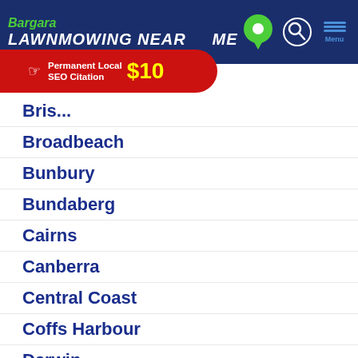Bargara LAWNMOWING NEAR ME
[Figure (screenshot): Red banner advertisement: Permanent Local SEO Citation $10]
Brisbane
Broadbeach
Bunbury
Bundaberg
Cairns
Canberra
Central Coast
Coffs Harbour
Darwin
Geelong
Gold Coast
Hervey Bay
Hobart